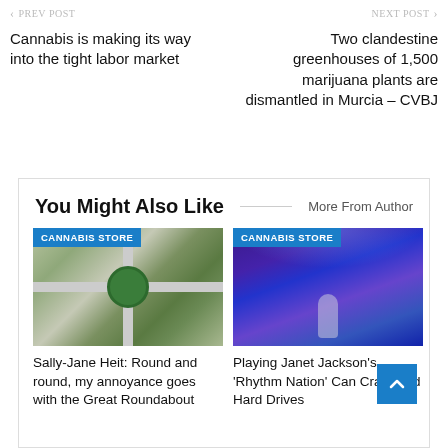Cannabis is making its way into the tight labor market
Two clandestine greenhouses of 1,500 marijuana plants are dismantled in Murcia – CVBJ
You Might Also Like
More From Author
[Figure (photo): Aerial view of a roundabout road intersection with green areas, tagged with CANNABIS STORE label]
Sally-Jane Heit: Round and round, my annoyance goes with the Great Roundabout
[Figure (photo): Concert performer on stage with blue/purple lighting, tagged with CANNABIS STORE label]
Playing Janet Jackson's 'Rhythm Nation' Can Crash Old Hard Drives